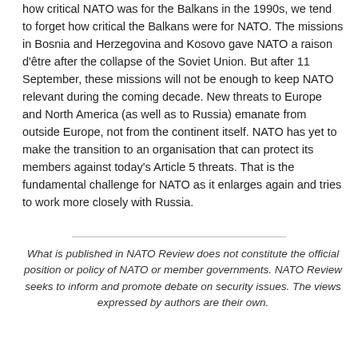how critical NATO was for the Balkans in the 1990s, we tend to forget how critical the Balkans were for NATO. The missions in Bosnia and Herzegovina and Kosovo gave NATO a raison d'être after the collapse of the Soviet Union. But after 11 September, these missions will not be enough to keep NATO relevant during the coming decade. New threats to Europe and North America (as well as to Russia) emanate from outside Europe, not from the continent itself. NATO has yet to make the transition to an organisation that can protect its members against today's Article 5 threats. That is the fundamental challenge for NATO as it enlarges again and tries to work more closely with Russia.
What is published in NATO Review does not constitute the official position or policy of NATO or member governments. NATO Review seeks to inform and promote debate on security issues. The views expressed by authors are their own.